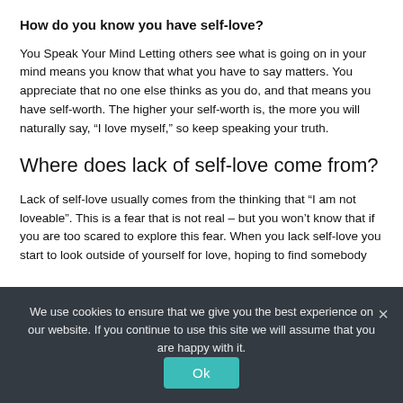How do you know you have self-love?
You Speak Your Mind Letting others see what is going on in your mind means you know that what you have to say matters. You appreciate that no one else thinks as you do, and that means you have self-worth. The higher your self-worth is, the more you will naturally say, “I love myself,” so keep speaking your truth.
Where does lack of self-love come from?
Lack of self-love usually comes from the thinking that “I am not loveable”. This is a fear that is not real – but you won’t know that if you are too scared to explore this fear. When you lack self-love you start to look outside of yourself for love, hoping to find somebody
We use cookies to ensure that we give you the best experience on our website. If you continue to use this site we will assume that you are happy with it.